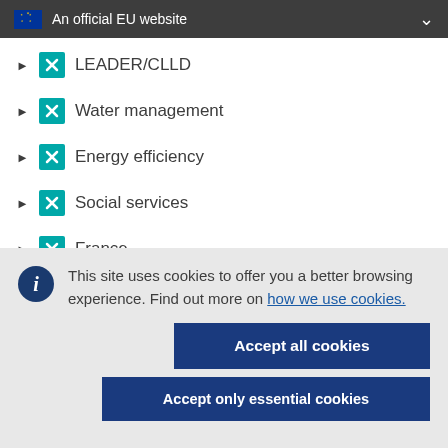An official EU website
LEADER/CLLD
Water management
Energy efficiency
Social services
France
This site uses cookies to offer you a better browsing experience. Find out more on how we use cookies.
Accept all cookies
Accept only essential cookies